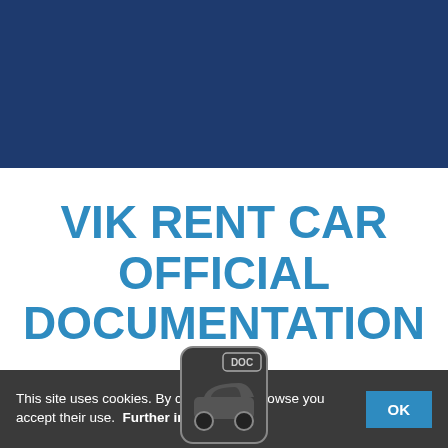[Figure (illustration): Dark navy blue header banner background]
VIK RENT CAR OFFICIAL DOCUMENTATION
[Figure (illustration): DOC file icon with car/document symbol, partially obscured by cookie bar]
This site uses cookies. By continuing to browse you accept their use.  Further information   OK